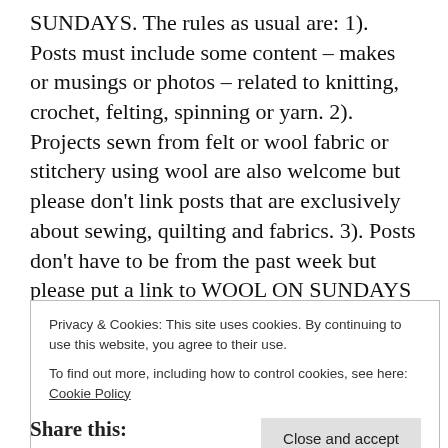SUNDAYS. The rules as usual are: 1). Posts must include some content – makes or musings or photos – related to knitting, crochet, felting, spinning or yarn. 2). Projects sewn from felt or wool fabric or stitchery using wool are also welcome but please don't link posts that are exclusively about sewing, quilting and fabrics. 3). Posts don't have to be from the past week but please put a link to WOOL ON SUNDAYS or grab the button from my sidebar and include it in or at the bottom of any posts you link up. 4). Visit anyone else who links. Wishing you a happy week :)
Privacy & Cookies: This site uses cookies. By continuing to use this website, you agree to their use. To find out more, including how to control cookies, see here: Cookie Policy
Close and accept
Share this: